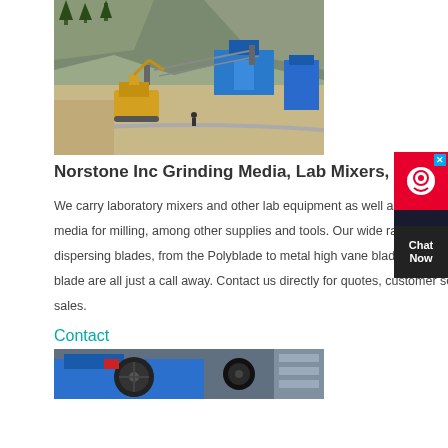[Figure (photo): Aerial view of a quarry/mining operation site with blue machinery, excavators, and rocky hillside in background]
Norstone Inc Grinding Media, Lab Mixers, Blades and more.
We carry laboratory mixers and other lab equipment as well as beads, balls, and other media for milling, among other supplies and tools. Our wide range of mixing and dispersing blades, from the Polyblade to metal high vane blades, or even an impeller blade are all just a call away. Contact us directly for quotes, customer service and sales.
Contact
[Figure (photo): Industrial machinery, blue equipment with large wheel/pulley visible in a manufacturing facility]